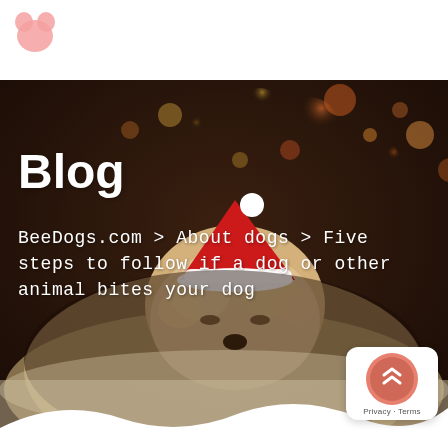[Figure (logo): BeeDogs.com logo - pink/salmon colored dog-shaped or cloud-shaped icon in top left corner]
[Figure (photo): Hero banner image showing a fluffy golden/cream puppy wearing a red Santa Claus hat, lying on a soft white blanket. Background has blurred bokeh lights from a Christmas tree with warm orange and yellow tones. Dark moody atmosphere.]
Blog
BeeDogs.com > About dogs > Five steps to follow if a dog or other animal bites your dog
[Figure (logo): Small circular badge in bottom right corner with purple/navy BeeDogs logo icon, salmon/coral circular background, white card with Privacy - Terms text below]